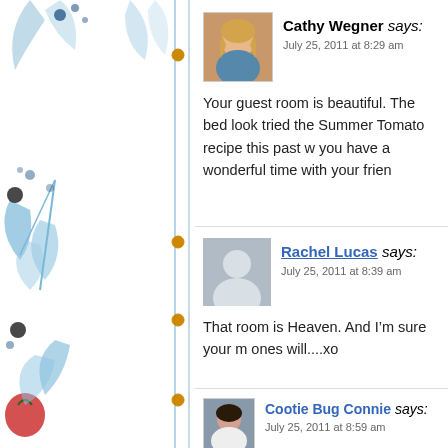[Figure (illustration): Decorative floral/nature watercolor illustration on the left sidebar with blue botanical motifs, dots, and a red heart shape]
Cathy Wegner says:
July 25, 2011 at 8:29 am
Your guest room is beautiful. The bed look... tried the Summer Tomato recipe this past w... you have a wonderful time with your frien...
Rachel Lucas says:
July 25, 2011 at 8:39 am
That room is Heaven. And I’m sure your m... ones will....xo
Cootie Bug Connie says:
July 25, 2011 at 8:59 am